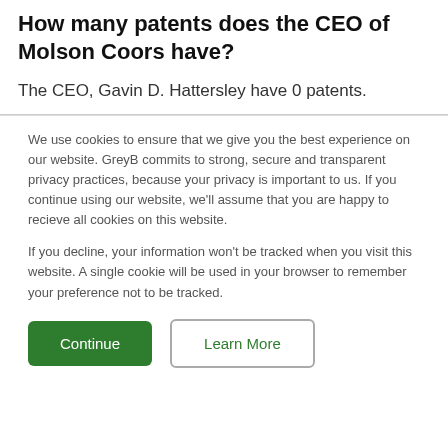How many patents does the CEO of Molson Coors have?
The CEO, Gavin D. Hattersley have 0 patents.
We use cookies to ensure that we give you the best experience on our website. GreyB commits to strong, secure and transparent privacy practices, because your privacy is important to us. If you continue using our website, we'll assume that you are happy to recieve all cookies on this website.
If you decline, your information won't be tracked when you visit this website. A single cookie will be used in your browser to remember your preference not to be tracked.